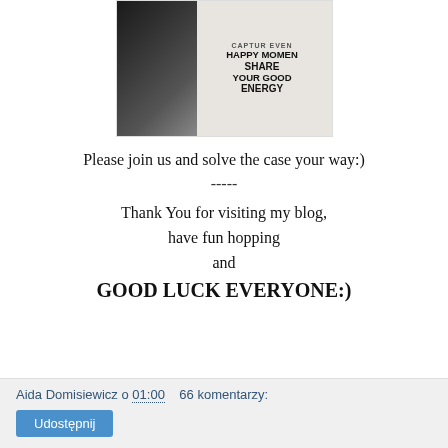[Figure (photo): Photo of a person holding a handwritten sign that reads: HAPPY MOMENT SHARE YOUR GOOD ENERGY. The left side shows a dark textured background with the person, and the right side shows white paper with hand-lettered text.]
Please join us and solve the case your way:)
-----
Thank You for visiting my blog,
have fun hopping
and
GOOD LUCK EVERYONE:)
Aida Domisiewicz o 01:00   66 komentarzy:
Udostępnij